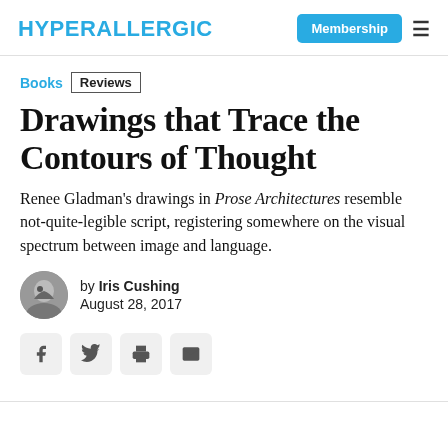HYPERALLERGIC | Membership ≡
Books  Reviews
Drawings that Trace the Contours of Thought
Renee Gladman's drawings in Prose Architectures resemble not-quite-legible script, registering somewhere on the visual spectrum between image and language.
by Iris Cushing
August 28, 2017